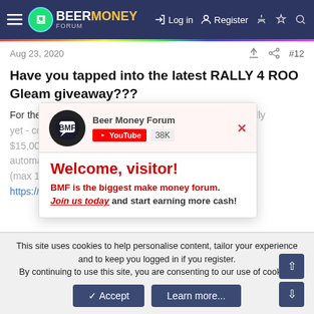Beer Money Forum — Log in | Register
Aug 23, 2020   #12
Have you tapped into the latest RALLY 4 ROO Gleam giveaway???
For the month of [...]  biggest rally yet - collect entries into a draw to win your share of $15,000!?? And better yet, call all your friends - you automatically get 15 entries for every friend you refer (max 15 friends). https://t.me/roobetrom...
[Figure (screenshot): Beer Money Forum popup overlay with BMF logo, YouTube 38K subscribe button, Welcome visitor message, BMF is the biggest make money forum. Join us today and start earning more cash!]
And to celebrate the end of a long, hard, week here's a little something to get the spirits fl...
This site uses cookies to help personalise content, tailor your experience and to keep you logged in if you register. By continuing to use this site, you are consenting to our use of cookies.
Accept | Learn more...